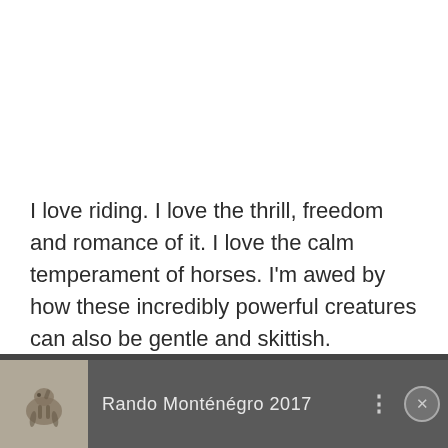I love riding. I love the thrill, freedom and romance of it. I love the calm temperament of horses. I'm awed by how these incredibly powerful creatures can also be gentle and skittish.
[Figure (screenshot): A video player bar at the bottom showing a thumbnail of riders on horseback, the title 'Rando Monténégro 2017', a three-dot menu icon, and an X close button.]